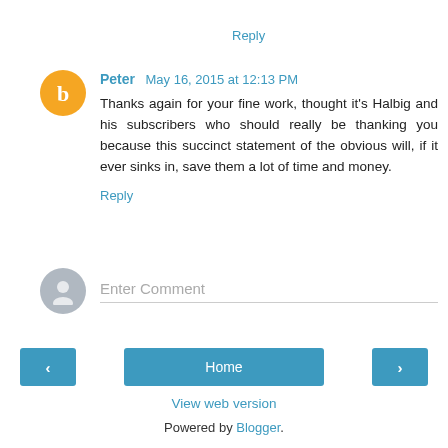Reply
Peter  May 16, 2015 at 12:13 PM
Thanks again for your fine work, thought it's Halbig and his subscribers who should really be thanking you because this succinct statement of the obvious will, if it ever sinks in, save them a lot of time and money.
Reply
Enter Comment
Home
View web version
Powered by Blogger.